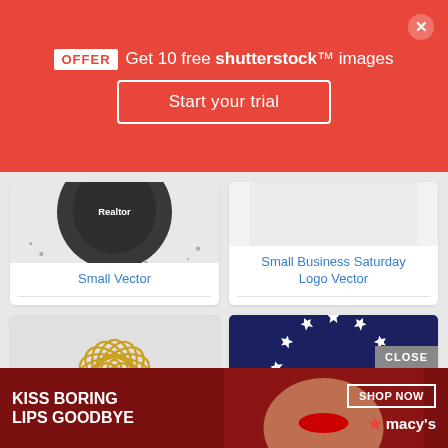[Figure (screenshot): Shutterstock promotional banner with offer to get 10 free images and Start your trial button on red background]
[Figure (illustration): Small Vector - black grunge beard illustration on white background]
Small Vector
[Figure (illustration): Small Business Saturday Logo Vector - on light gray background]
Small Business Saturday Logo Vector
[Figure (illustration): Floral mandala outline in gold/yellow on light gray background]
[Figure (illustration): Circle of white stars on dark navy blue background (Betsy Ross flag style)]
[Figure (screenshot): Macy's advertisement: Kiss Boring Lips Goodbye with woman wearing red lipstick and Shop Now button]